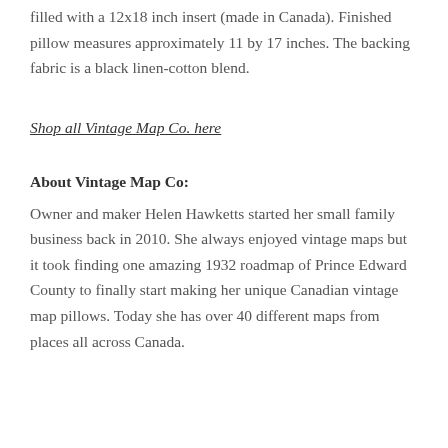Details: This is a 100% linen-cotton canvas pillow, down filled with a 12x18 inch insert (made in Canada). Finished pillow measures approximately 11 by 17 inches. The backing fabric is a black linen-cotton blend.
Shop all Vintage Map Co. here
About Vintage Map Co:
Owner and maker Helen Hawketts started her small family business back in 2010. She always enjoyed vintage maps but it took finding one amazing 1932 roadmap of Prince Edward County to finally start making her unique Canadian vintage map pillows. Today she has over 40 different maps from places all across Canada.